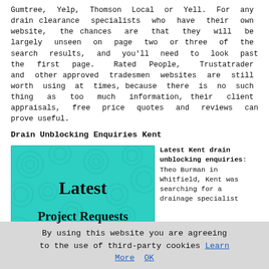Gumtree, Yelp, Thomson Local or Yell. For any drain clearance specialists who have their own website, the chances are that they will be largely unseen on page two or three of the search results, and you'll need to look past the first page. Rated People, Trustatrader and other approved tradesmen websites are still worth using at times, because there is no such thing as too much information, their client appraisals, free price quotes and reviews can prove useful.
Drain Unblocking Enquiries Kent
[Figure (illustration): Teal/turquoise background image with swirl patterns, displaying bold text 'Latest' on top and 'Project Requests' below.]
Latest Kent drain unblocking enquiries: Theo Burman in Whitfield, Kent was searching for a drainage specialist
By using this website you are agreeing to the use of third-party cookies Learn More OK